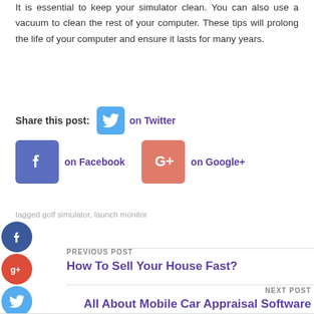It is essential to keep your simulator clean. You can also use a vacuum to clean the rest of your computer. These tips will prolong the life of your computer and ensure it lasts for many years.
Share this post:  on Twitter  on Facebook  on Google+
tagged golf simulator, launch monitor
PREVIOUS POST
How To Sell Your House Fast?
NEXT POST
All About Mobile Car Appraisal Software